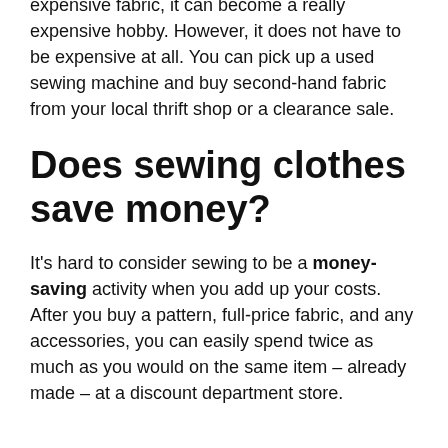expensive fabric, it can become a really expensive hobby. However, it does not have to be expensive at all. You can pick up a used sewing machine and buy second-hand fabric from your local thrift shop or a clearance sale.
Does sewing clothes save money?
It's hard to consider sewing to be a money-saving activity when you add up your costs. After you buy a pattern, full-price fabric, and any accessories, you can easily spend twice as much as you would on the same item – already made – at a discount department store.